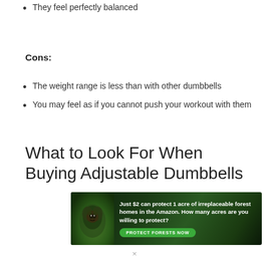They feel perfectly balanced
Cons:
The weight range is less than with other dumbbells
You may feel as if you cannot push your workout with them
What to Look For When Buying Adjustable Dumbbells
[Figure (infographic): Advertisement banner: dark forest background with animal image on left. Text reads: 'Just $2 can protect 1 acre of irreplaceable forest homes in the Amazon. How many acres are you willing to protect?' with a green 'PROTECT FORESTS NOW' button.]
×